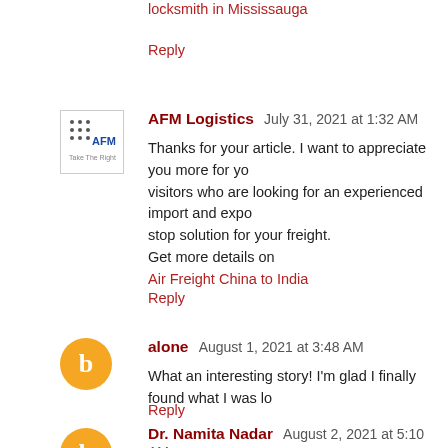locksmith in Mississauga
Reply
AFM Logistics  July 31, 2021 at 1:32 AM
Thanks for your article. I want to appreciate you more for your visitors who are looking for an experienced import and expo... stop solution for your freight. Get more details on
Air Freight China to India
Reply
alone  August 1, 2021 at 3:48 AM
What an interesting story! I'm glad I finally found what I was lo...
Reply
Dr. Namita Nadar  August 2, 2021 at 5:10 AM
Houses of Payne is the nation's leading residential real estate...